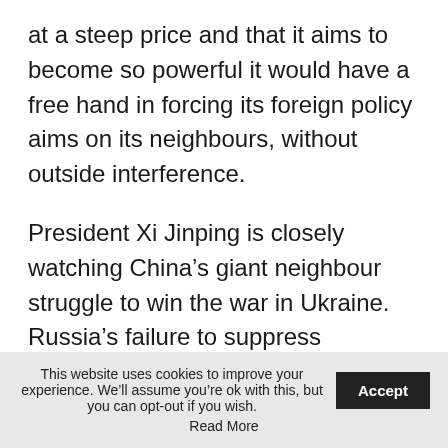at a steep price and that it aims to become so powerful it would have a free hand in forcing its foreign policy aims on its neighbours, without outside interference.
President Xi Jinping is closely watching China's giant neighbour struggle to win the war in Ukraine. Russia's failure to suppress Ukraine's air defences in the opening days, its inability to effectively supply its military and the lacklustre approach to command and leadership are all lessons Chinese military planners will make note
This website uses cookies to improve your experience. We'll assume you're ok with this, but you can opt-out if you wish. Accept Read More